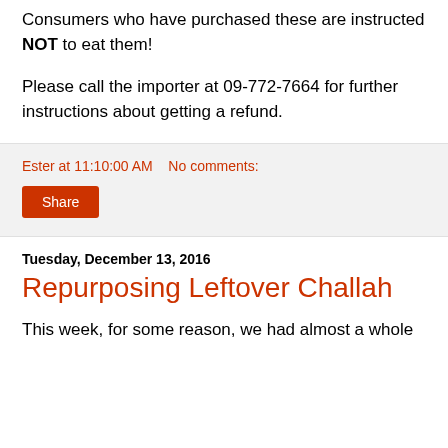Consumers who have purchased these are instructed NOT to eat them!
Please call the importer at 09-772-7664 for further instructions about getting a refund.
Ester at 11:10:00 AM    No comments:
Share
Tuesday, December 13, 2016
Repurposing Leftover Challah
This week, for some reason, we had almost a whole